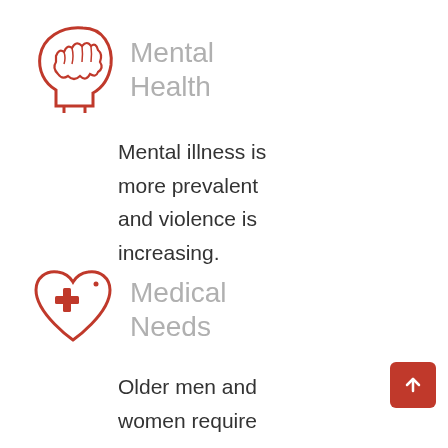[Figure (illustration): Red outline icon of a human head profile with brain visible inside]
Mental Health
Mental illness is more prevalent and violence is increasing.
[Figure (illustration): Red outline icon of a heart with a medical cross symbol inside]
Medical Needs
Older men and women require